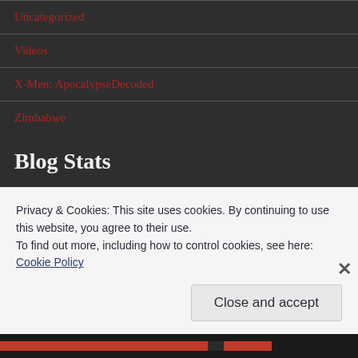Uncategorized
Videos
X-Men: ApocalypseDecoded
Zimbabwe
Blog Stats
138,601 hits
Top Clicks
Privacy & Cookies: This site uses cookies. By continuing to use this website, you agree to their use.
To find out more, including how to control cookies, see here:
Cookie Policy
Close and accept